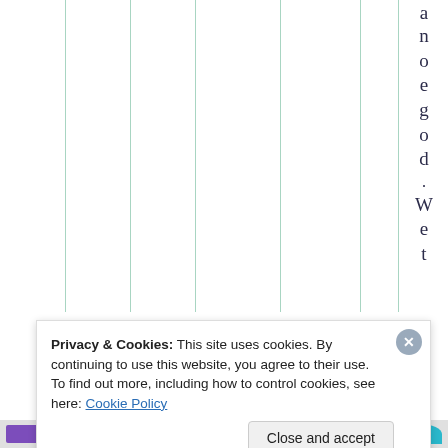[Figure (table-as-image): Partial table view showing vertical column grid lines in teal/green color with white background. Right edge shows vertically-written text 'anoed. Wet' in dark navy serif font.]
Privacy & Cookies: This site uses cookies. By continuing to use this website, you agree to their use.
To find out more, including how to control cookies, see here: Cookie Policy
Close and accept